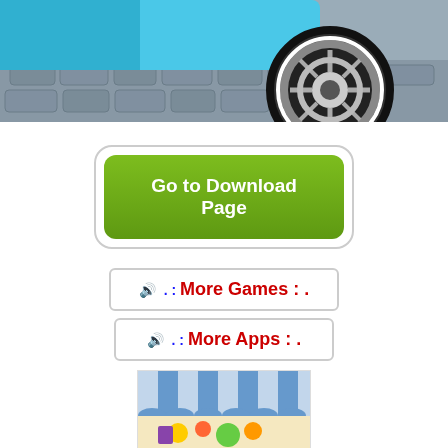[Figure (illustration): Partial view of a cartoon/illustrated racing car wheel and body (blue car body and stylized wheel with brake disc visible) on a cobblestone road background.]
Go to Download Page
🔊 . : More Games : .
🔊 . : More Apps : .
[Figure (illustration): Partial view of a cartoon store front with blue and white striped awning and colorful items below it.]